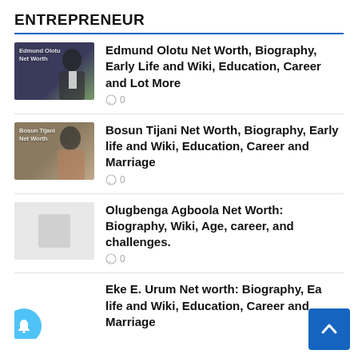ENTREPRENEUR
Edmund Olotu Net Worth, Biography, Early Life and Wiki, Education, Career and Lot More
💬 0
Bosun Tijani Net Worth, Biography, Early life and Wiki, Education, Career and Marriage
💬 0
Olugbenga Agboola Net Worth: Biography, Wiki, Age, career, and challenges.
💬 0
Eke E. Urum Net worth: Biography, Early life and Wiki, Education, Career and Marriage